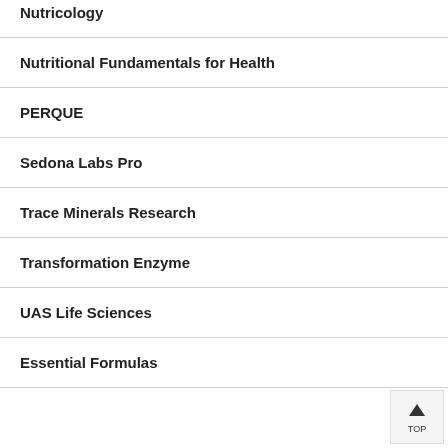Nutricology
Nutritional Fundamentals for Health
PERQUE
Sedona Labs Pro
Trace Minerals Research
Transformation Enzyme
UAS Life Sciences
Essential Formulas